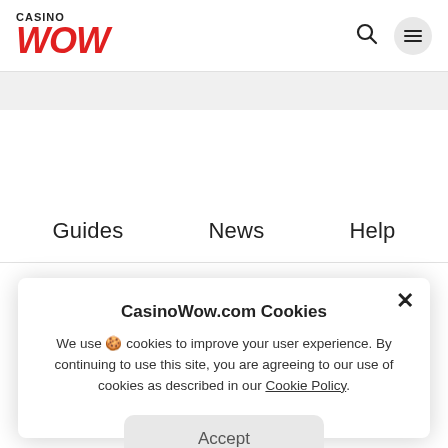Casino WOW
Guides   News   Help
Get exclusive deals, news and more ...
By subscribing you confirm that you have read and agreed to our ...
CasinoWow.com Cookies
We use 🍪 cookies to improve your user experience. By continuing to use this site, you are agreeing to our use of cookies as described in our Cookie Policy.
Accept
Online casinos   Bonuses